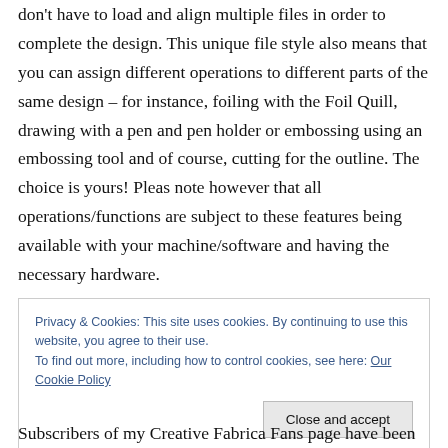don't have to load and align multiple files in order to complete the design. This unique file style also means that you can assign different operations to different parts of the same design – for instance, foiling with the Foil Quill, drawing with a pen and pen holder or embossing using an embossing tool and of course, cutting for the outline. The choice is yours! Pleas note however that all operations/functions are subject to these features being available with your machine/software and having the necessary hardware.
Privacy & Cookies: This site uses cookies. By continuing to use this website, you agree to their use.
To find out more, including how to control cookies, see here: Our Cookie Policy
Subscribers of my Creative Fabrica Fans page have been